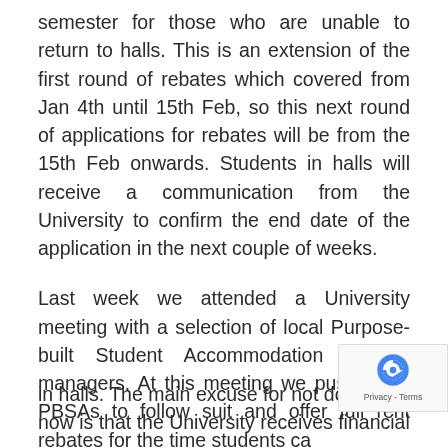semester for those who are unable to return to halls. This is an extension of the first round of rebates which covered from Jan 4th until 15th Feb, so this next round of applications for rebates will be from the 15th Feb onwards. Students in halls will receive a communication from the University to confirm the end date of the application in the next couple of weeks.
Last week we attended a University meeting with a selection of local Purpose-built Student Accommodation (PBSA) managers. At this meeting we pushed for PBSAs to follow suit and offer full rent rebates for the time students ca[nnot be] in halls. The main excuse for not doing this [right] now is that the University receives financial